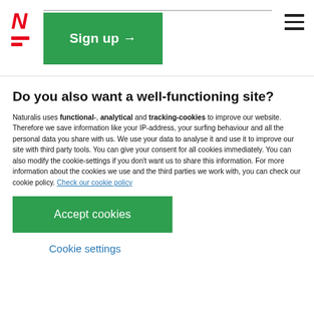Naturalis logo and Sign up button
Do you also want a well-functioning site?
Naturalis uses functional-, analytical and tracking-cookies to improve our website. Therefore we save information like your IP-address, your surfing behaviour and all the personal data you share with us. We use your data to analyse it and use it to improve our site with third party tools. You can give your consent for all cookies immediately. You can also modify the cookie-settings if you don't want us to share this information. For more information about the cookies we use and the third parties we work with, you can check our cookie policy. Check our cookie policy
Accept cookies
Cookie settings